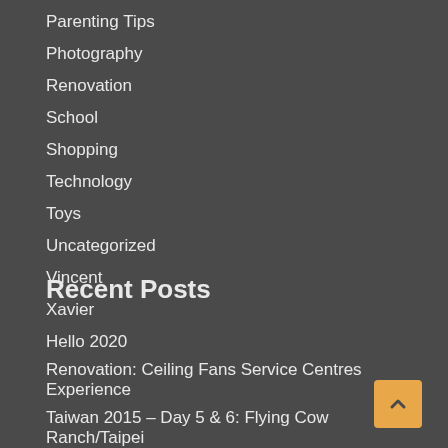Parenting Tips
Photography
Renovation
School
Shopping
Technology
Toys
Uncategorized
Vincent
Xavier
Recent Posts
Hello 2020
Renovation: Ceiling Fans Service Centres Experience
Taiwan 2015 – Day 5 & 6: Flying Cow Ranch/Taipei
Taiwan 2015 – Day 4: Flying Cow Ranch